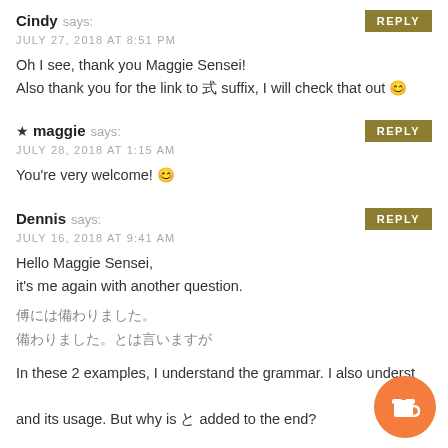Cindy says: JULY 27, 2018 AT 8:51 PM
Oh I see, thank you Maggie Sensei!
Also thank you for the link to ?? suffix, I will check that out 😊
★ maggie says: JULY 28, 2018 AT 1:15 AM
You're very welcome! 😊
Dennis says: JULY 16, 2018 AT 9:41 AM
Hello Maggie Sensei,
it's me again with another question.

??????????
??????????

In these 2 examples, I understand the grammar. I also understand the... and its usage. But why is ? added to the end?